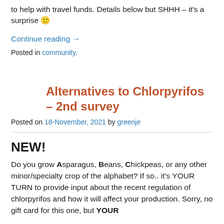to help with travel funds. Details below but SHHH – it's a surprise 🙂
Continue reading →
Posted in community.
Alternatives to Chlorpyrifos – 2nd survey
Posted on 18-November, 2021 by greenje
NEW!
Do you grow Asparagus, Beans, Chickpeas, or any other minor/specialty crop of the alphabet? If so.. it's YOUR TURN to provide input about the recent regulation of chlorpyrifos and how it will affect your production. Sorry, no gift card for this one, but YOUR